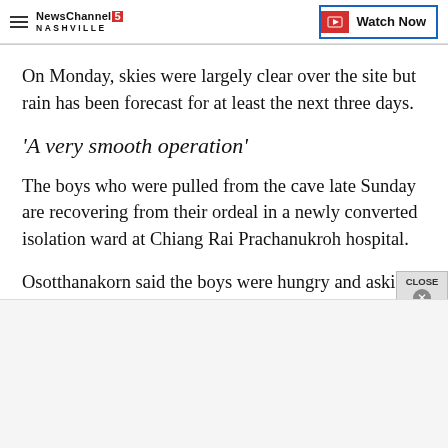NewsChannel 5 Nashville | Watch Now
On Monday, skies were largely clear over the site but rain has been forecast for at least the next three days.
'A very smooth operation'
The boys who were pulled from the cave late Sunday are recovering from their ordeal in a newly converted isolation ward at Chiang Rai Prachanukroh hospital.
Osotthanakorn said the boys were hungry and aski